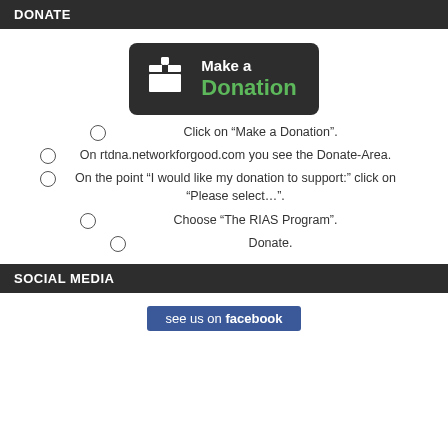DONATE
[Figure (illustration): Dark rounded rectangle button with white gift box icon and text 'Make a Donation' where 'Make a' is white and 'Donation' is green]
Click on “Make a Donation”.
On rtdna.networkforgood.com you see the Donate-Area.
On the point “I would like my donation to support:” click on “Please select…”.
Choose “The RIAS Program”.
Donate.
SOCIAL MEDIA
[Figure (illustration): Blue Facebook button with text 'see us on facebook']